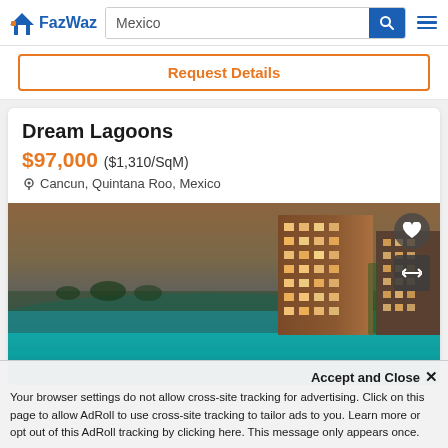FazWaz — Mexico search bar
Request Details
Dream Lagoons
$97,000 ($1,310/SqM)
Cancun, Quintana Roo, Mexico
[Figure (photo): Aerial view of Dream Lagoons property in Cancun at dusk, showing a lagoon, swimming pool, and a tall residential building with lights on.]
Accept and Close ×
Your browser settings do not allow cross-site tracking for advertising. Click on this page to allow AdRoll to use cross-site tracking to tailor ads to you. Learn more or opt out of this AdRoll tracking by clicking here. This message only appears once.